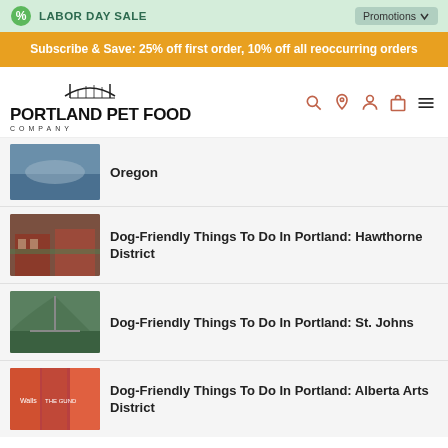LABOR DAY SALE
Subscribe & Save: 25% off first order, 10% off all reoccurring orders
[Figure (logo): Portland Pet Food Company logo with bridge icon above text]
Oregon
Dog-Friendly Things To Do In Portland: Hawthorne District
Dog-Friendly Things To Do In Portland: St. Johns
Dog-Friendly Things To Do In Portland: Alberta Arts District